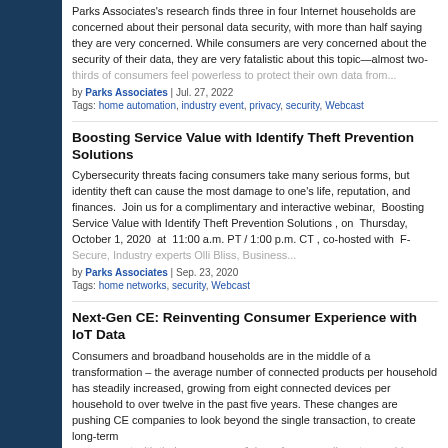Parks Associates research finds three in four Internet households are concerned about their personal data security, with more than half saying they are very concerned. While consumers are very concerned about the security of their data, they are very fatalistic about this topic—almost two-thirds of consumers feel powerless to protect their own data from...
by Parks Associates | Jul. 27, 2022
Tags: home automation, industry event, privacy, security, Webcast
Boosting Service Value with Identify Theft Prevention Solutions
Cybersecurity threats facing consumers take many serious forms, but identity theft can cause the most damage to one's life, reputation, and finances.  Join us for a complimentary and interactive webinar,  Boosting Service Value with Identify Theft Prevention Solutions , on  Thursday, October 1, 2020  at  11:00 a.m. PT / 1:00 p.m. CT , co-hosted with  F-Secure, Industry experts Olli Bliss, Business...
by Parks Associates | Sep. 23, 2020
Tags: home networks, security, Webcast
Next-Gen CE: Reinventing Consumer Experience with IoT Data
Consumers and broadband households are in the middle of a transformation – the average number of connected products per household has steadily increased, growing from eight connected devices per household to over twelve in the past five years. These changes are pushing CE companies to look beyond the single transaction, to create long-term engagement with their consumers. Join us for a complimentary webinar...